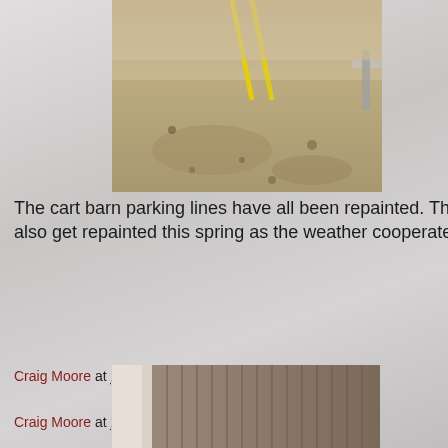[Figure (photo): Photo of cart barn parking floor with yellow painted lines visible, concrete surface with stains]
The cart barn parking lines have all been repainted.  The parking lot line will also get repainted this spring as the weather cooperates.
Craig Moore at 1:27 PM    No comments:
Craig Moore at 1:16 PM    No comments:
[Figure (photo): Photo of a storage building or barn exterior with metal/wood siding, showing number 54]